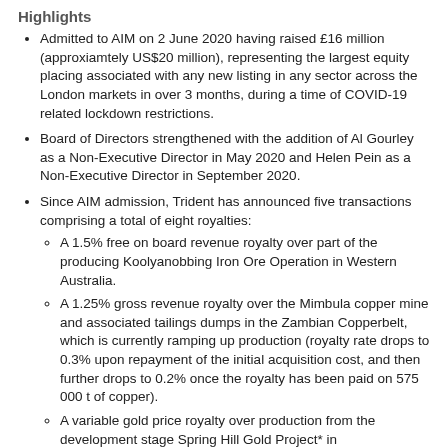Highlights
Admitted to AIM on 2 June 2020 having raised £16 million (approxiamtely US$20 million), representing the largest equity placing associated with any new listing in any sector across the London markets in over 3 months, during a time of COVID-19 related lockdown restrictions.
Board of Directors strengthened with the addition of Al Gourley as a Non-Executive Director in May 2020 and Helen Pein as a Non-Executive Director in September 2020.
Since AIM admission, Trident has announced five transactions comprising a total of eight royalties:
A 1.5% free on board revenue royalty over part of the producing Koolyanobbing Iron Ore Operation in Western Australia.
A 1.25% gross revenue royalty over the Mimbula copper mine and associated tailings dumps in the Zambian Copperbelt, which is currently ramping up production (royalty rate drops to 0.3% upon repayment of the initial acquisition cost, and then further drops to 0.2% once the royalty has been paid on 575 000 t of copper).
A variable gold price royalty over production from the development stage Spring Hill Gold Project* in